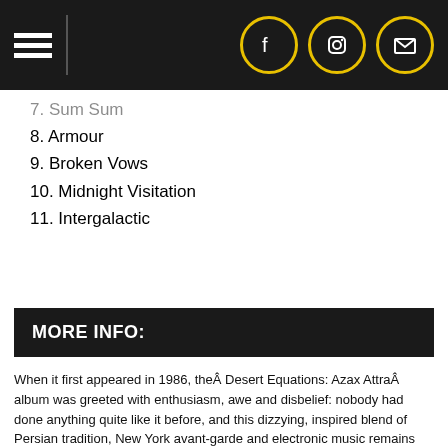7. Sum Sum
8. Armour
9. Broken Vows
10. Midnight Visitation
11. Intergalactic
MORE INFO:
When it first appeared in 1986, theÂ Desert Equations: Azax AttraÂ album was greeted with enthusiasm, awe and disbelief: nobody had done anything quite like it before, and this dizzying, inspired blend of Persian tradition, New York avant-garde and electronic music remains incomparable, powerful and mesmerizing to this day. Combining the sublime voice of Iranian vocalist Deyhim and the electronic wizardry of US composer Horowitz, this haunting and futuristic album prompted writer Paul Bowles to wonder: "Was this composed under the influence of Majoun?", and convinced filmmaker Bernardo Bertolucci to entrust the soundtrack music for hisÂ Sheltering SkyÂ movie to Richard Horowitz (which earned him a Golden Globe). Â Desert EquationsÂ wonderfully blends the duo's multiple sources,